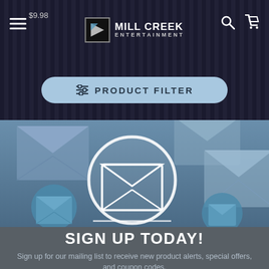Mill Creek Entertainment - $9.98
[Figure (screenshot): Navigation bar with hamburger menu, Mill Creek Entertainment logo, search and cart icons]
[Figure (illustration): Product Filter button with slider icon on dark striped background]
[Figure (illustration): Email/mailing list illustration with envelope icons on blue-grey background]
SIGN UP TODAY!
Sign up for our mailing list to receive new product alerts, special offers, and coupon codes.